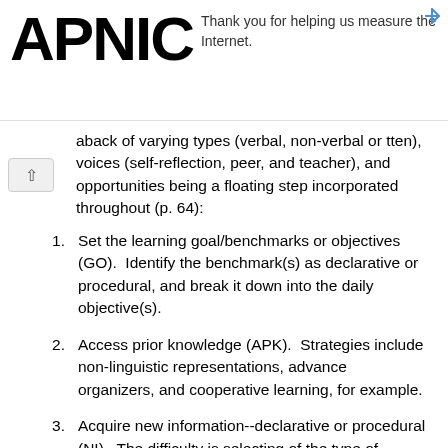aback of varying types (verbal, non-verbal or tten), voices (self-reflection, peer, and teacher), and opportunities being a floating step incorporated throughout (p. 64):
Set the learning goal/benchmarks or objectives (GO).  Identify the benchmark(s) as declarative or procedural, and break it down into the daily objective(s).
Access prior knowledge (APK).  Strategies include non-linguistic representations, advance organizers, and cooperative learning, for example.
Acquire new information--declarative or procedural (NI).  The difficulty is selecting of the type of strategy that helps learners retain each type of knowledge.  Lecturing is one way.  However, learners might be involved with "note-taking, using a thinking skill as a scaffold organizer, creating a graphic organizer," questioning, and cooperative learning (e.g., pair/sharing) (p. 71).  Multimedia presentations